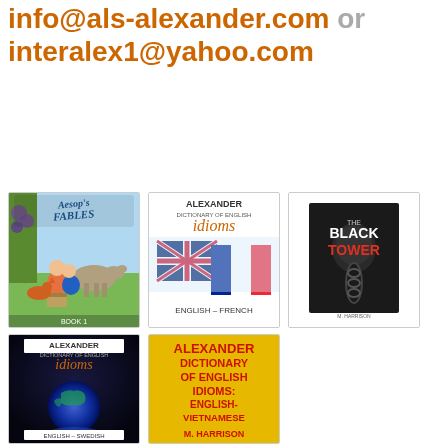info@als-alexander.com or interalex1@yahoo.com
[Figure (illustration): Book cover: Aesop's Fables Book 1, showing children and animals in colorful illustration]
[Figure (illustration): Book cover: Alexander Dictionary of English Idioms, English-French, with UK and French flags]
[Figure (illustration): Book cover: The Black Tower, dark cover with title in bold white and red text]
[Figure (illustration): Book cover: Alexander Dictionary of English Idioms, English-Swedish, dark cover with globe]
[Figure (illustration): Book cover: Alexander Dictionary of English Idioms: English-Vietnamese, yellow cover with red text, M. Harrison]